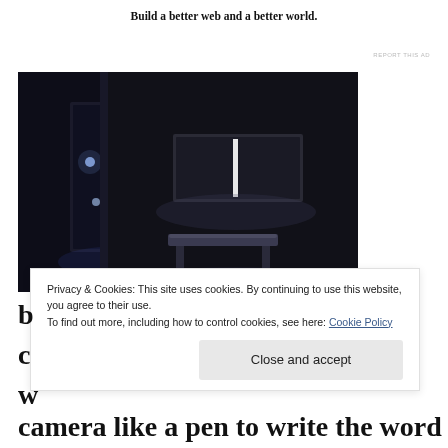Build a better web and a better world.
REPORT THIS AD
[Figure (photo): Dark interior room with dim lighting, a bench, illuminated display cases on the left, and a lit screen/panel on the back wall]
Privacy & Cookies: This site uses cookies. By continuing to use this website, you agree to their use.
To find out more, including how to control cookies, see here: Cookie Policy
Close and accept
camera like a pen to write the word